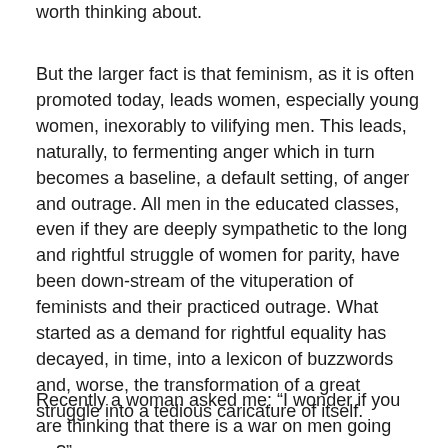worth thinking about.
But the larger fact is that feminism, as it is often promoted today, leads women, especially young women, inexorably to vilifying men. This leads, naturally, to fermenting anger which in turn becomes a baseline, a default setting, of anger and outrage. All men in the educated classes, even if they are deeply sympathetic to the long and rightful struggle of women for parity, have been down-stream of the vituperation of feminists and their practiced outrage. What started as a demand for rightful equality has decayed, in time, into a lexicon of buzzwords and, worse, the transformation of a great struggle into a tedious caricature of itself.
Recently a woman asked me: “I wonder if you are thinking that there is a war on men going on?”